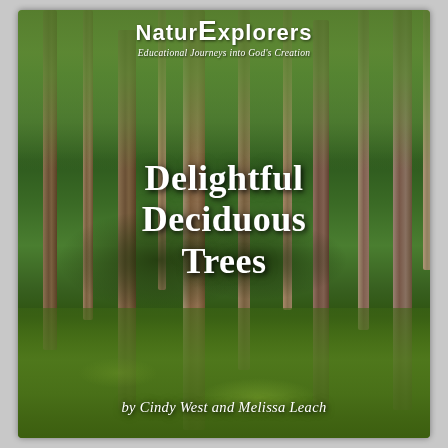[Figure (photo): Book cover for 'Delightful Deciduous Trees' from the NaturExplorers series. Background shows a lush deciduous forest scene with tall thin tree trunks, green foliage canopy, and green ground cover. White text overlaid showing series name, book title in Old English style font, and authors.]
NaturExplorers – Educational Journeys into God's Creation
Delightful Deciduous Trees
by Cindy West and Melissa Leach